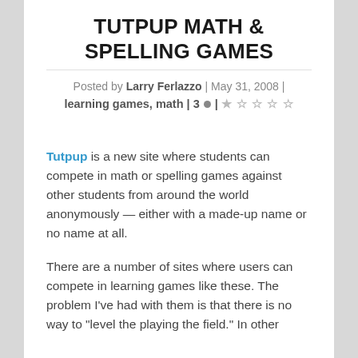TUTPUP MATH & SPELLING GAMES
Posted by Larry Ferlazzo | May 31, 2008 | learning games, math | 3 ● | ★☆☆☆☆
Tutpup is a new site where students can compete in math or spelling games against other students from around the world anonymously — either with a made-up name or no name at all.
There are a number of sites where users can compete in learning games like these. The problem I’ve had with them is that there is no way to “level the playing the field.” In other